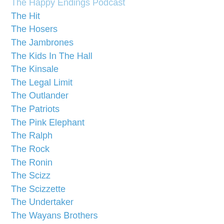The Happy Endings Podcast
The Hit
The Hosers
The Jambrones
The Kids In The Hall
The Kinsale
The Legal Limit
The Outlander
The Patriots
The Pink Elephant
The Ralph
The Rock
The Ronin
The Scizz
The Scizzette
The Undertaker
The Wayans Brothers
The Wild Card
The Wire
The Wizard
The Yachtsman